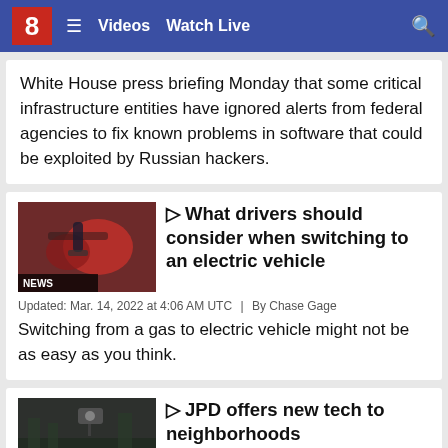8  ≡  Videos  Watch Live  🔍
White House press briefing Monday that some critical infrastructure entities have ignored alerts from federal agencies to fix known problems in software that could be exploited by Russian hackers.
[Figure (screenshot): News thumbnail showing electric vehicle charging port on red car, labeled NEWS]
▶ What drivers should consider when switching to an electric vehicle
Updated: Mar. 14, 2022 at 4:06 AM UTC  |  By Chase Gage
Switching from a gas to electric vehicle might not be as easy as you think.
[Figure (screenshot): Crime thumbnail showing security camera footage, labeled CRIME]
▶ JPD offers new tech to neighborhoods
Updated: Mar. 9, 2022 at 12:50 PM UTC  |